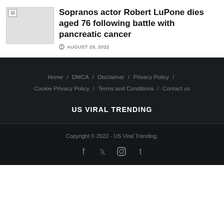[Figure (photo): Thumbnail image placeholder with broken image icon]
Sopranos actor Robert LuPone dies aged 76 following battle with pancreatic cancer
AUGUST 29, 2022
Home / DMCA / Disclaimer / Privacy Policy / Cookie Privacy Policy / Terms and Conditions / Contact us
US VIRAL TRENDING
Copyright © 2022 - US Viral Trending.